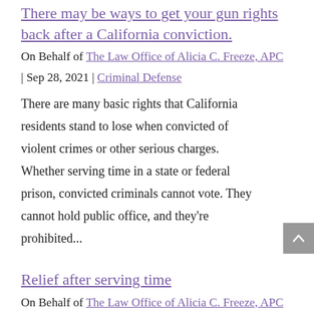There may be ways to get your gun rights back after a California conviction.
On Behalf of The Law Office of Alicia C. Freeze, APC | Sep 28, 2021 | Criminal Defense
There are many basic rights that California residents stand to lose when convicted of violent crimes or other serious charges. Whether serving time in a state or federal prison, convicted criminals cannot vote. They cannot hold public office, and they're prohibited...
Relief after serving time
On Behalf of The Law Office of Alicia C. Freeze, APC | Sep 13, 2021 | Criminal Defense
No one wants to serve time for a crime they did not commit, but sadly, this does happen in the California justice system. Many after they are exonerated, can at...